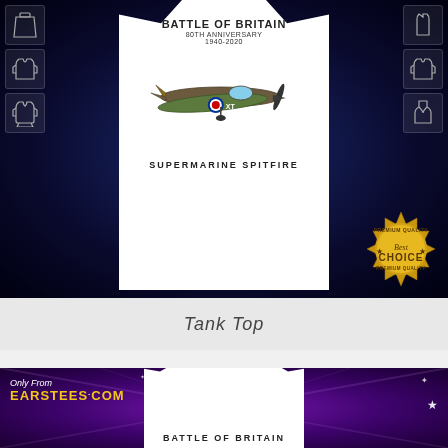[Figure (photo): Product photo of a white tank top shirt featuring 'Battle of Britain 80th Anniversary 1940-2020' text with a Supermarine Spitfire aircraft illustration, displayed on a dark blue nebula/space background with small garment style icons on left and right sides, and a gold 'Premium Quality Best Choice' badge in the bottom right corner.]
Tank Top
[Figure (photo): Product photo of a white long-sleeve shirt with 'Battle of Britain' text visible at the bottom, displayed on a purple/violet starburst background with the 'Only From EARSTEES.COM' branding in the bottom-left corner.]